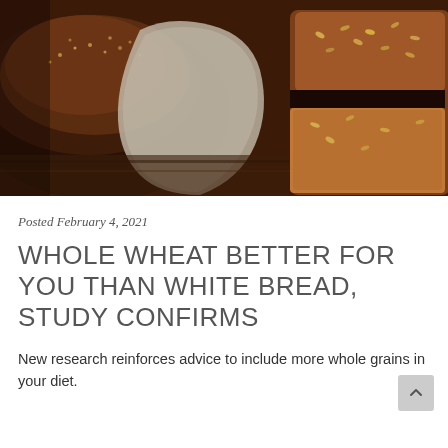[Figure (photo): Close-up photograph of sliced whole wheat/rye bread loaves with seeds on top, placed on a wooden surface with a gray linen cloth, showing the dark brown crust and seeded topping.]
Posted February 4, 2021
WHOLE WHEAT BETTER FOR YOU THAN WHITE BREAD, STUDY CONFIRMS
New research reinforces advice to include more whole grains in your diet.